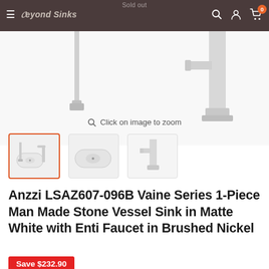Beyond Sinks — Sold out
[Figure (screenshot): E-commerce product page screenshot showing a vessel sink and faucet combo. Navigation bar with Beyond Sinks logo, hamburger menu, search, account, and cart icons. Product images showing an oval matte white vessel sink with chrome faucet. Thumbnail row with three product images.]
Click on image to zoom
Anzzi LSAZ607-096B Vaine Series 1-Piece Man Made Stone Vessel Sink in Matte White with Enti Faucet in Brushed Nickel
Save $232.90